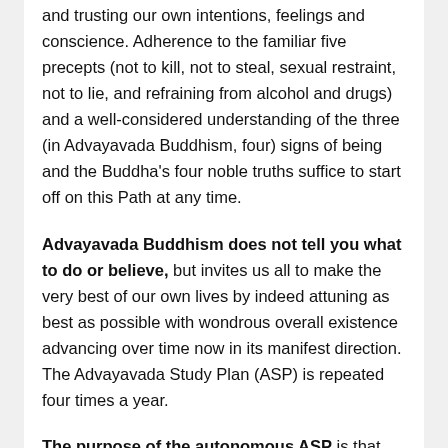and trusting our own intentions, feelings and conscience. Adherence to the familiar five precepts (not to kill, not to steal, sexual restraint, not to lie, and refraining from alcohol and drugs) and a well-considered understanding of the three (in Advayavada Buddhism, four) signs of being and the Buddha's four noble truths suffice to start off on this Path at any time.
Advayavada Buddhism does not tell you what to do or believe, but invites us all to make the very best of our own lives by indeed attuning as best as possible with wondrous overall existence advancing over time now in its manifest direction. The Advayavada Study Plan (ASP) is repeated four times a year.
The purpose of the autonomous ASP is that we study (and debate in a local group, the family circle or with good friends) the meaning and implications of the weekly subject, not as a formal and impersonal intellectual exercise, but in the context of whatever we ourselves are presently doing or are concerned with, or about, such as our health, relationships, work, study, our place in society,